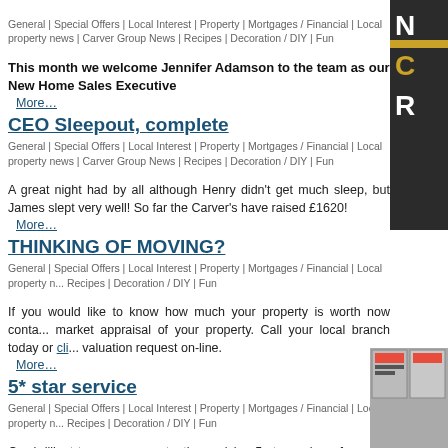General | Special Offers | Local Interest | Property | Mortgages / Financial | Local property news | Carver Group News | Recipes | Decoration / DIY | Fun
This month we welcome Jennifer Adamson to the team as our New Home Sales Executive
More…
CEO Sleepout, complete
General | Special Offers | Local Interest | Property | Mortgages / Financial | Local property news | Carver Group News | Recipes | Decoration / DIY | Fun
A great night had by all although Henry didn't get much sleep, but James slept very well! So far the Carver's have raised £1620!
More…
THINKING OF MOVING?
General | Special Offers | Local Interest | Property | Mortgages / Financial | Local property news | Recipes | Decoration / DIY | Fun
If you would like to know how much your property is worth now contact us for a free market appraisal of your property. Call your local branch today or click to make a valuation request on-line.
More…
5* star service
General | Special Offers | Local Interest | Property | Mortgages / Financial | Local property news | Recipes | Decoration / DIY | Fun
Our brilliant teams are constantly receiving 5 star reviews from the service given to clients. See for yourself!
More…
Welcome to Jill!
General | Special Offers | Local Interest | Property | Mortgages / Financial | Local property news | Carver Group News | Recipes | Decoration / DIY | Fun
We say a big welcome to Jill Collier who joined the